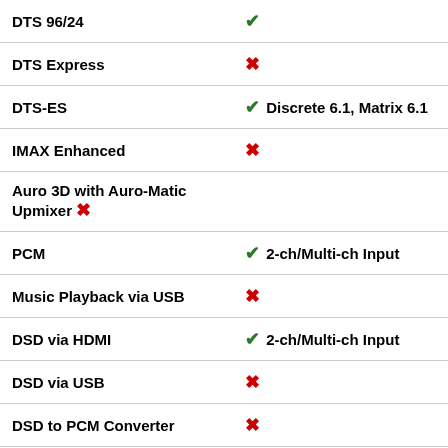| Feature | Value |
| --- | --- |
| DTS 96/24 | ✓ |
| DTS Express | ✗ |
| DTS-ES | ✓ Discrete 6.1, Matrix 6.1 |
| IMAX Enhanced | ✗ |
| Auro 3D with Auro-Matic Upmixer | ✗ |
| PCM | ✓ 2-ch/Multi-ch Input |
| Music Playback via USB | ✗ |
| DSD via HDMI | ✓ 2-ch/Multi-ch Input |
| DSD via USB | ✗ |
| DSD to PCM Converter | ✗ |